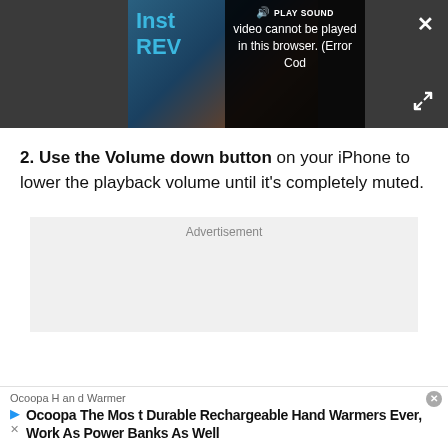[Figure (screenshot): Video player bar with dark background showing a video thumbnail with 'Inst REV' text in blue, an error overlay message 'video cannot be played in this browser. (Error Cod' with a speaker/play sound icon, a close X button top right, and an expand icon bottom right.]
2. Use the Volume down button on your iPhone to lower the playback volume until it’s completely muted.
Advertisement
[Figure (screenshot): Bottom advertisement banner for Ocoopa Hand Warmer showing text: 'Ocoopa Hand Warmer' brand, 'Ocoopa The Most Durable Rechargeable Hand Warmers Ever, Work As Power Banks As Well' with play and close icons.]